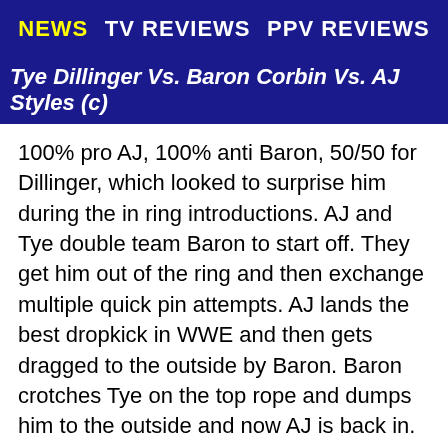NEWS   TV REVIEWS   PPV REVIEWS
Tye Dillinger Vs. Baron Corbin Vs. AJ Styles (c)
100% pro AJ, 100% anti Baron, 50/50 for Dillinger, which looked to surprise him during the in ring introductions. AJ and Tye double team Baron to start off. They get him out of the ring and then exchange multiple quick pin attempts. AJ lands the best dropkick in WWE and then gets dragged to the outside by Baron. Baron crotches Tye on the top rope and dumps him to the outside and now AJ is back in. Baron overpowers AJ and chunks him 3/4 across the ring. Tye sneaks in, but Baron sends him flying into AJ and then he sends AJ ribs first into the ringpost. Good sequence by Baron. Baron was in control for a good portion of the match after this. AJ tried slingshotting in the ring but Baron caught him with a big right hand in mid-air. AJ finally gets back into it